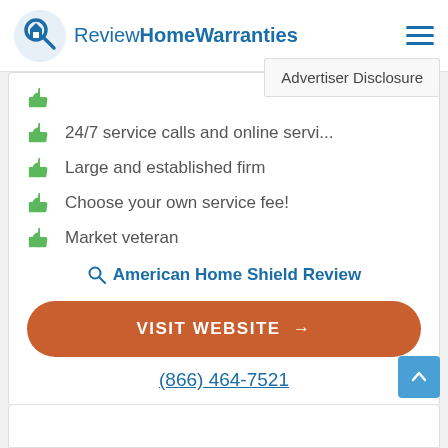ReviewHomeWarranties
Advertiser Disclosure
24/7 service calls and online servi...
Large and established firm
Choose your own service fee!
Market veteran
American Home Shield Review
VISIT WEBSITE →
(866) 464-7521